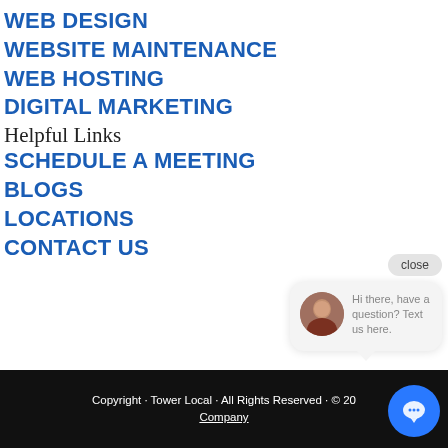WEB DESIGN
WEBSITE MAINTENANCE
WEB HOSTING
DIGITAL MARKETING
Helpful Links
SCHEDULE A MEETING
BLOGS
LOCATIONS
CONTACT US
[Figure (screenshot): Chat popup with close button, avatar photo of a woman, and text: Hi there, have a question? Text us here.]
Copyright · Tower Local · All Rights Reserved · © 20… Company